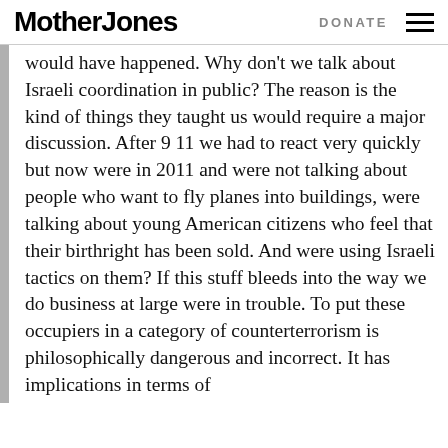Mother Jones | DONATE
would have happened. Why don't we talk about Israeli coordination in public? The reason is the kind of things they taught us would require a major discussion. After 9 11 we had to react very quickly but now were in 2011 and were not talking about people who want to fly planes into buildings, were talking about young American citizens who feel that their birthright has been sold. And were using Israeli tactics on them? If this stuff bleeds into the way we do business at large were in trouble. To put these occupiers in a category of counterterrorism is philosophically dangerous and incorrect. It has implications in terms of